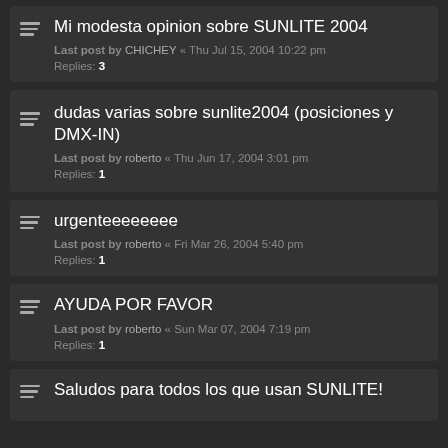Mi modesta opinion sobre SUNLITE 2004
Last post by CHICHEY « Thu Jul 15, 2004 10:22 pm
Replies: 3
dudas varias sobre sunlite2004 (posiciones y DMX-IN)
Last post by roberto « Thu Jun 17, 2004 3:01 pm
Replies: 1
urgenteeeeeeee
Last post by roberto « Fri Mar 26, 2004 5:40 pm
Replies: 1
AYUDA POR FAVOR
Last post by roberto « Sun Mar 07, 2004 7:19 pm
Replies: 1
Saludos para todos los que usan SUNLITE!